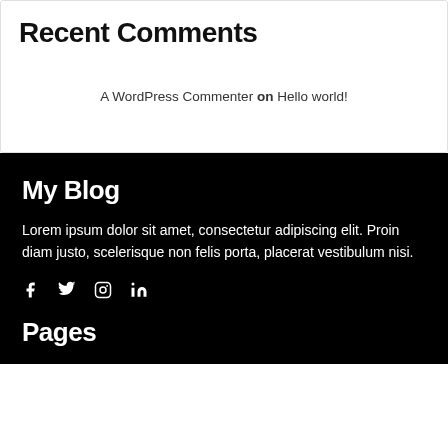Recent Comments
A WordPress Commenter on Hello world!
My Blog
Lorem ipsum dolor sit amet, consectetur adipiscing elit. Proin diam justo, scelerisque non felis porta, placerat vestibulum nisi.
[Figure (other): Social media icons: Facebook, Twitter, Instagram, LinkedIn]
Pages